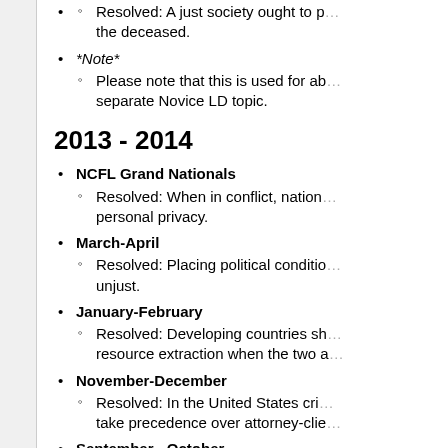Resolved: A just society ought to p... the deceased.
*Note*
Please note that this is used for ab... separate Novice LD topic.
2013 - 2014
NCFL Grand Nationals
Resolved: When in conflict, nation... personal privacy.
March-April
Resolved: Placing political conditi... unjust.
January-February
Resolved: Developing countries sh... resource extraction when the two a...
November-December
Resolved: In the United States cri... take precedence over attorney-clie...
September - October
Resolved: In a democracy, voting o...
*Note*
The Lincoln-Douglas topic above w... There is *no* separate topic for No...
2012 - 2013